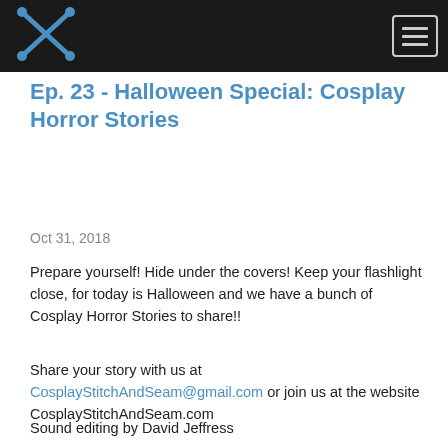[Logo: Cosplay Stitch and Seam] [Menu button]
Ep. 23 - Halloween Special: Cosplay Horror Stories
Oct 31, 2018
Prepare yourself! Hide under the covers! Keep your flashlight close, for today is Halloween and we have a bunch of Cosplay Horror Stories to share!!
Share your story with us at CosplayStitchAndSeam@gmail.com or join us at the website CosplayStitchAndSeam.com
Sound editing by David Jeffress
Music: "Burnt Spirit" Kevin...